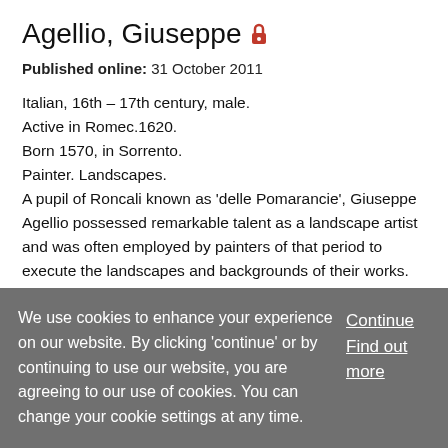Agellio, Giuseppe 🔒
Published online: 31 October 2011
Italian, 16th – 17th century, male.
Active in Romec.1620.
Born 1570, in Sorrento.
Painter. Landscapes.
A pupil of Roncali known as 'delle Pomarancie', Giuseppe Agellio possessed remarkable talent as a landscape artist and was often employed by painters of that period to execute the landscapes and backgrounds of their works. He also demonstrated great ability in the painting of architectural motifs.
We use cookies to enhance your experience on our website. By clicking 'continue' or by continuing to use our website, you are agreeing to our use of cookies. You can change your cookie settings at any time.
Continue
Find out more